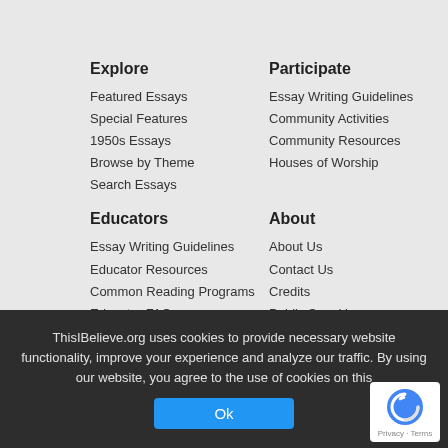Explore
Featured Essays
Special Features
1950s Essays
Browse by Theme
Search Essays
Participate
Essay Writing Guidelines
Community Activities
Community Resources
Houses of Worship
Educators
Essay Writing Guidelines
Educator Resources
Common Reading Programs
Educator FAQ
About
About Us
Contact Us
Credits
Public Speaking
FAQ
ThisIBelieve.org uses cookies to provide necessary website functionality, improve your experience and analyze our traffic. By using our website, you agree to the use of cookies on this
Ok